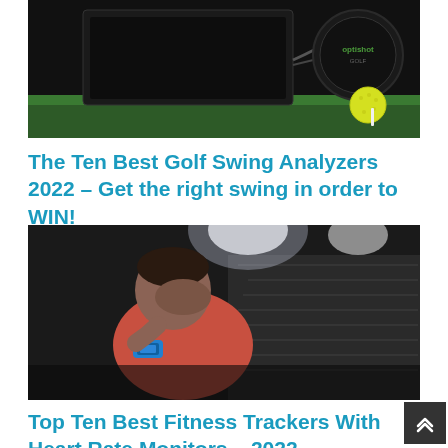[Figure (photo): Golf swing analyzer product shot — black electronic device on green artificial turf with yellow golf ball and a circular branded element (OptiShot)]
The Ten Best Golf Swing Analyzers 2022 – Get the right swing in order to WIN!
[Figure (photo): Man in red/coral t-shirt and blue smartwatch, sitting with head in hand looking stressed or tired, photographed in a dark stadium or stairwell setting with bright overhead lights]
Top Ten Best Fitness Trackers With Heart Rate Monitors – 2022